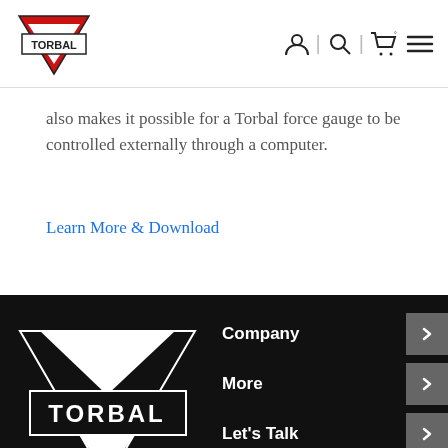TORBAL [logo] | navigation icons
also makes it possible for a Torbal force gauge to be controlled externally through a computer.
Learn More & Download
[Figure (logo): Torbal logo in white on black background — triangle/chevron shape with TORBAL text in a rectangular badge]
Company
More
Let's Talk
Find Us